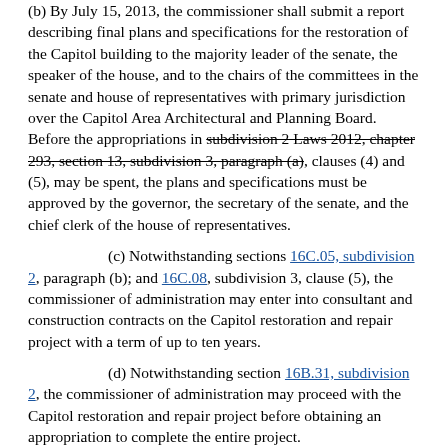(b) By July 15, 2013, the commissioner shall submit a report describing final plans and specifications for the restoration of the Capitol building to the majority leader of the senate, the speaker of the house, and to the chairs of the committees in the senate and house of representatives with primary jurisdiction over the Capitol Area Architectural and Planning Board. Before the appropriations in subdivision 2 Laws 2012, chapter 293, section 13, subdivision 3, paragraph (a), clauses (4) and (5), may be spent, the plans and specifications must be approved by the governor, the secretary of the senate, and the chief clerk of the house of representatives.
(c) Notwithstanding sections 16C.05, subdivision 2, paragraph (b); and 16C.08, subdivision 3, clause (5), the commissioner of administration may enter into consultant and construction contracts on the Capitol restoration and repair project with a term of up to ten years.
(d) Notwithstanding section 16B.31, subdivision 2, the commissioner of administration may proceed with the Capitol restoration and repair project before obtaining an appropriation to complete the entire project.
(e) On or before December 1, of each year until final...